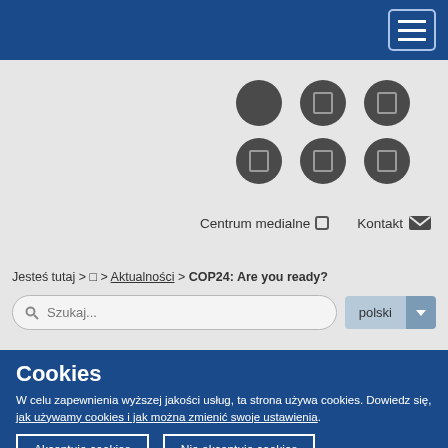[Figure (screenshot): Blue header navigation bar with hamburger menu button (three horizontal lines) on the right side]
[Figure (screenshot): Grid of 6 dark circular icons (social media links) arranged in 2 rows of 3, on grey background]
Centrum medialne  Kontakt
Jesteś tutaj > □ > Aktualności > COP24: Are you ready?
Szukaj...  polski
Cookies
W celu zapewnienia wyższej jakości usług, ta strona używa cookies. Dowiedz się, jak używamy cookies i jak można zmienić swoje ustawienia.
Akceptuję cookies
Nie akceptuję cookies